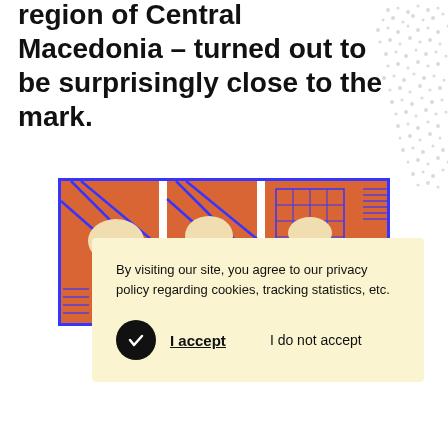region of Central Macedonia – turned out to be surprisingly close to the mark.
[Figure (illustration): Decorative abstract illustration with orange, blue and cream geometric and pattern motifs, partially visible on right side. Cookie consent dialog overlaid on top.]
By visiting our site, you agree to our privacy policy regarding cookies, tracking statistics, etc.
I accept   I do not accept